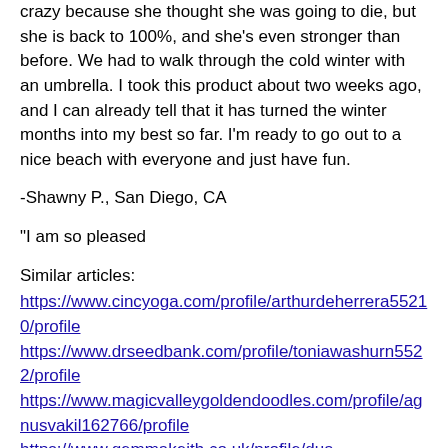crazy because she thought she was going to die, but she is back to 100%, and she's even stronger than before. We had to walk through the cold winter with an umbrella. I took this product about two weeks ago, and I can already tell that it has turned the winter months into my best so far. I'm ready to go out to a nice beach with everyone and just have fun.
-Shawny P., San Diego, CA
"I am so pleased
Similar articles:
https://www.cincyoga.com/profile/arthurdeherrera55210/profile https://www.drseedbank.com/profile/toniawashurn5522/profile https://www.magicvalleygoldendoodles.com/profile/agnusvakil162766/profile https://www.gemmakeith.co.uk/profile/dua